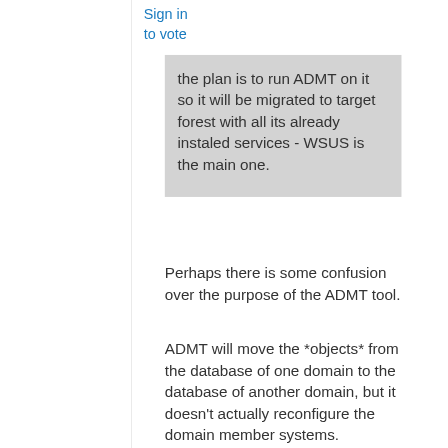Sign in
to vote
the plan is to run ADMT on it so it will be migrated to target forest with all its already instaled services - WSUS is the main one.
Perhaps there is some confusion over the purpose of the ADMT tool.
ADMT will move the *objects* from the database of one domain to the database of another domain, but it doesn't actually reconfigure the domain member systems.
If this is simply a question of taking a WSUS Server from an